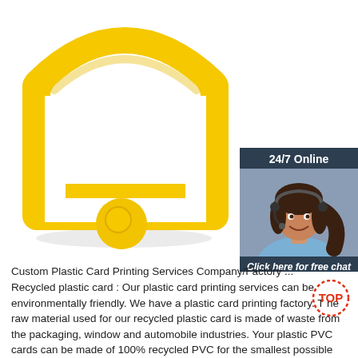[Figure (photo): Yellow silicone RFID wristband/slap bracelet with a circular chip bump, shown on white background. In the upper-right corner there is a 24/7 customer service chat widget with a dark navy background showing a smiling woman with a headset, text 'Click here for free chat!' and an orange QUOTATION button.]
Custom Plastic Card Printing Services Company/Factory ...
Recycled plastic card : Our plastic card printing services can be environmentally friendly. We have a plastic card printing factory. The raw material used for our recycled plastic card is made of waste from the packaging, window and automobile industries. Your plastic PVC cards can be made of 100% recycled PVC for the smallest possible